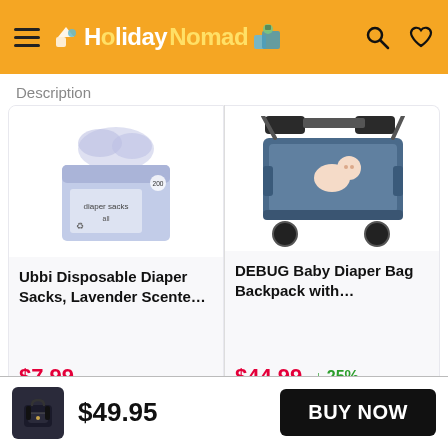HolidayNomad (logo) — navigation header with hamburger menu, search icon, heart icon
Description
[Figure (photo): Box of Ubbi Disposable Diaper Sacks (200 count), lavender scented, light purple box with tissue-like bags spilling out top]
Ubbi Disposable Diaper Sacks, Lavender Scente…
$7.99
[Figure (photo): DEBUG Baby Diaper Bag Backpack in black, shown open as a travel bassinet/crib with a baby lying inside]
DEBUG Baby Diaper Bag Backpack with…
$44.99
↓ 25%
[Figure (photo): Small black backpack thumbnail in bottom bar]
$49.95
BUY NOW